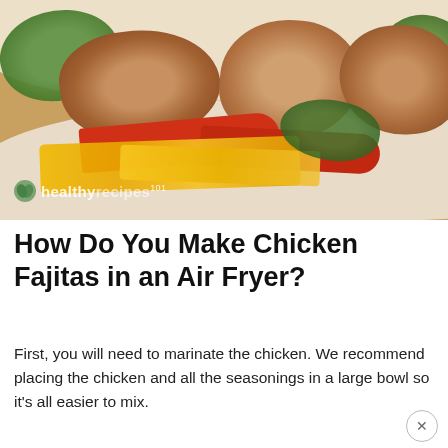[Figure (photo): Close-up photo of chicken fajitas in a flour tortilla wrap with red and yellow bell peppers, shredded cheddar cheese, green lettuce, and grilled chicken pieces. A healthyrecipes101 watermark is visible in the lower left.]
How Do You Make Chicken Fajitas in an Air Fryer?
First, you will need to marinate the chicken. We recommend placing the chicken and all the seasonings in a large bowl so it's all easier to mix.